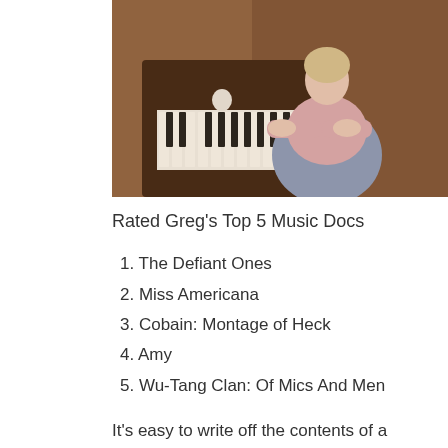[Figure (photo): A person playing a piano, wearing a light pink long-sleeve top and blue overalls, with a wooden piano visible in a warm-lit room.]
Rated Greg's Top 5 Music Docs
1. The Defiant Ones
2. Miss Americana
3. Cobain: Montage of Heck
4. Amy
5. Wu-Tang Clan: Of Mics And Men
It's easy to write off the contents of a Taylor Swift documentary as contrived.  But look, if that's your first inclination when Miss Americana pops up on your Netflix homepage,